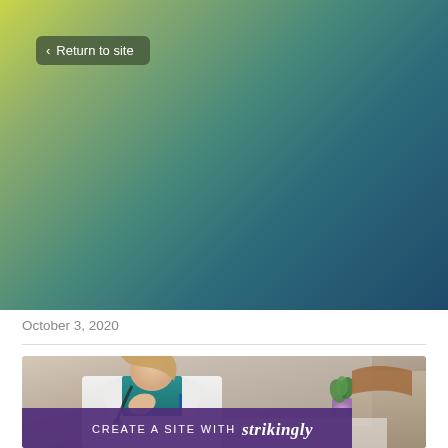< Return to site
A Guide for Finding the Best Online Doctors
October 3, 2020
[Figure (photo): Photo of a female doctor in white lab coat with stethoscope and teal scrubs, sitting thoughtfully with hand near chin, another person partially visible on the right, small plant in background]
CREATE A SITE WITH strikingly